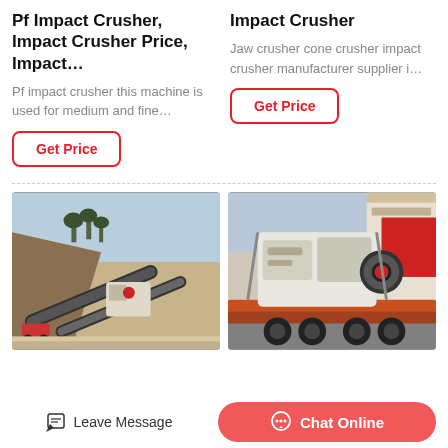Pf Impact Crusher, Impact Crusher Price, Impact…
Pf impact crusher this machine is used for medium and fine…
Get Price
Impact Crusher
Jaw crusher cone crusher impact crusher manufacturer supplier i…
Get Price
[Figure (photo): Outdoor mining/quarry site with impact crusher machinery and conveyor belts on a hillside]
[Figure (photo): Large white impact crusher machine loaded on a flatbed truck/trailer for transport]
Leave Message
Chat Online